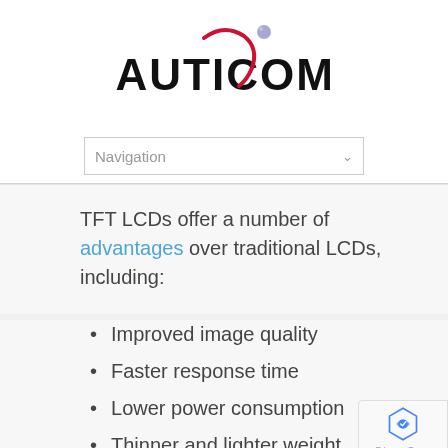[Figure (logo): Nauticomp logo with red arc and blue sphere accent, bold black text reading NAUTICOMP]
Navigation (dropdown menu)
TFT LCDs offer a number of advantages over traditional LCDs, including:
Improved image quality
Faster response time
Lower power consumption
Thinner and lighter weight